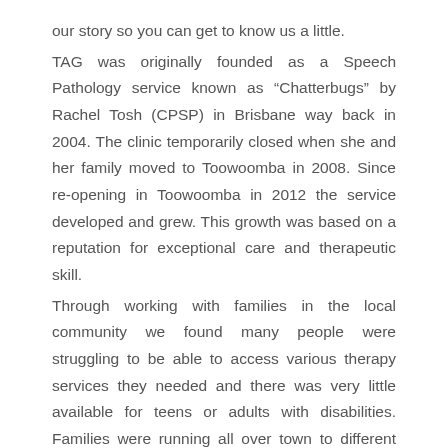our story so you can get to know us a little. TAG was originally founded as a Speech Pathology service known as “Chatterbugs” by Rachel Tosh (CPSP) in Brisbane way back in 2004. The clinic temporarily closed when she and her family moved to Toowoomba in 2008. Since re-opening in Toowoomba in 2012 the service developed and grew. This growth was based on a reputation for exceptional care and therapeutic skill. Through working with families in the local community we found many people were struggling to be able to access various therapy services they needed and there was very little available for teens or adults with disabilities. Families were running all over town to different services and appointments. The idea for Therapy Alliance Group, a “one-stop therapy shop” for families, was born.